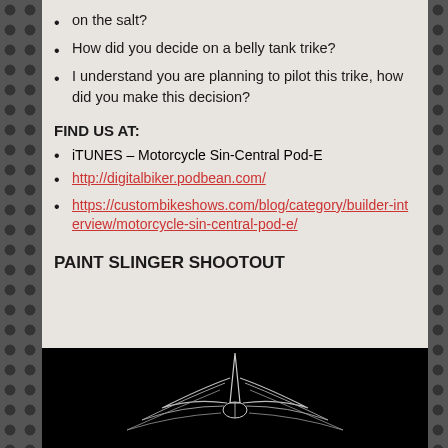on the salt?
How did you decide on a belly tank trike?
I understand you are planning to pilot this trike, how did you make this decision?
FIND US AT:
iTUNES – Motorcycle Sin-Central Pod-E
http://digitalbiker.podbean.com/
https://custombikeshows.com/blog/category/builder-interview/motorcycle-sin-central-pod-e/
PAINT SLINGER SHOOTOUT
[Figure (illustration): Dark/black background with a white line art illustration of a custom motorcycle or decorative wing/shield emblem design]